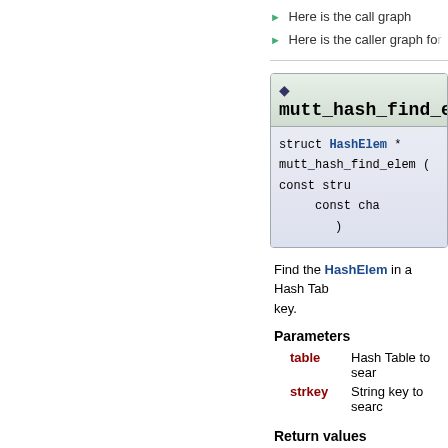Here is the call graph
Here is the caller graph for
mutt_hash_find_elem(
struct HashElem * mutt_hash_find_elem ( const stru const cha )
Find the HashElem in a Hash Table by key.
Parameters
table   Hash Table to sear
strkey  String key to searc
Return values